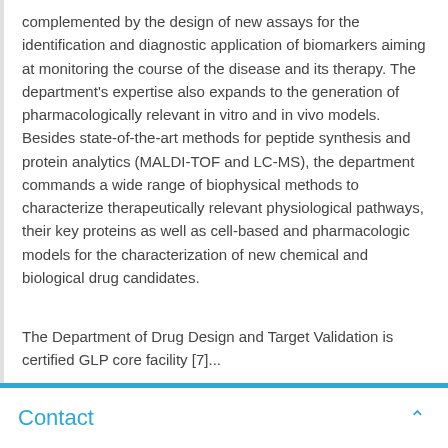complemented by the design of new assays for the identification and diagnostic application of biomarkers aiming at monitoring the course of the disease and its therapy. The department's expertise also expands to the generation of pharmacologically relevant in vitro and in vivo models. Besides state-of-the-art methods for peptide synthesis and protein analytics (MALDI-TOF and LC-MS), the department commands a wide range of biophysical methods to characterize therapeutically relevant physiological pathways, their key proteins as well as cell-based and pharmacologic models for the characterization of new chemical and biological drug candidates.
The Department of Drug Design and Target Validation is certified GLP core facility [7]...
Contact